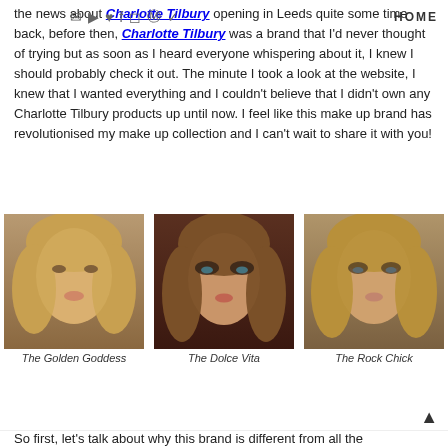HOME
the news about Charlotte Tilbury opening in Leeds quite some time back, before then, Charlotte Tilbury was a brand that I'd never thought of trying but as soon as I heard everyone whispering about it, I knew I should probably check it out. The minute I took a look at the website, I knew that I wanted everything and I couldn't believe that I didn't own any Charlotte Tilbury products up until now. I feel like this make up brand has revolutionised my make up collection and I can't wait to share it with you!
[Figure (photo): Model with golden goddess makeup look - warm glowing skin with soft eye makeup]
The Golden Goddess
[Figure (photo): Model with dolce vita makeup look - dramatic smoky eyes with dark eye shadow]
The Dolce Vita
[Figure (photo): Model with rock chick makeup look - bronzed skin with defined eye makeup]
The Rock Chick
So first, let's talk about why this brand is different from all the